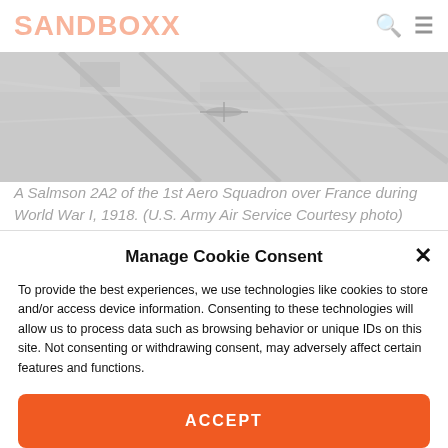SANDBOXX
[Figure (photo): Aerial black and white photograph of a Salmson 2A2 of the 1st Aero Squadron over France during World War I, 1918.]
A Salmson 2A2 of the 1st Aero Squadron over France during World War I, 1918. (U.S. Army Air Service Courtesy photo)
Manage Cookie Consent
To provide the best experiences, we use technologies like cookies to store and/or access device information. Consenting to these technologies will allow us to process data such as browsing behavior or unique IDs on this site. Not consenting or withdrawing consent, may adversely affect certain features and functions.
ACCEPT
Opt-out preferences   Privacy Policy